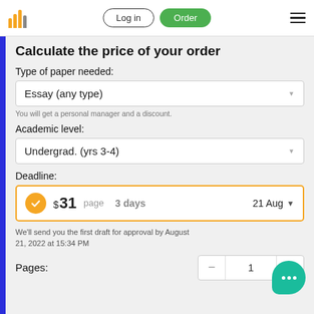Log in | Order
Calculate the price of your order
Type of paper needed:
Essay (any type)
You will get a personal manager and a discount.
Academic level:
Undergrad. (yrs 3-4)
Deadline:
$ 31  page  3 days  21 Aug
We'll send you the first draft for approval by August 21, 2022 at 15:34 PM
Pages: